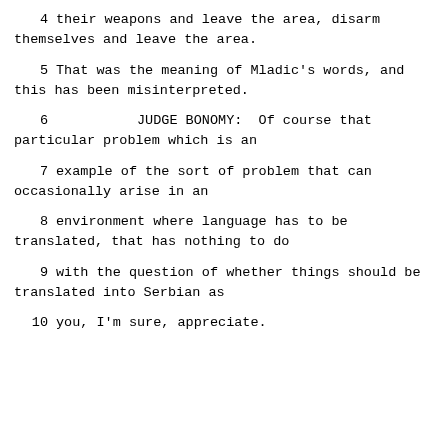4      their weapons and leave the area, disarm themselves and leave the area.
5      That was the meaning of Mladic's words, and this has been misinterpreted.
6                JUDGE BONOMY:  Of course that particular problem which is an
7      example of the sort of problem that can occasionally arise in an
8      environment where language has to be translated, that has nothing to do
9      with the question of whether things should be translated into Serbian as
10     you, I'm sure, appreciate.